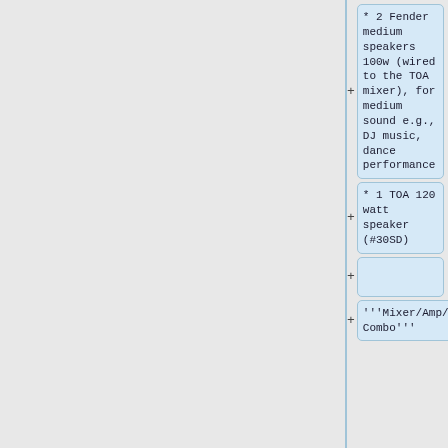* 2 Fender medium speakers 100w (wired to the TOA mixer), for medium sound e.g., DJ music, dance performance
* 1 TOA 120 watt speaker (#30SD)
'''Mixer/Amp/Speaker Combo'''